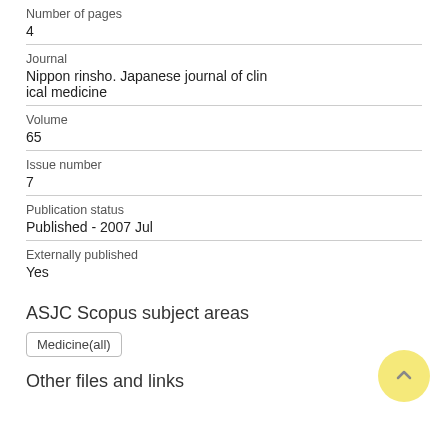Number of pages
4
Journal
Nippon rinsho. Japanese journal of clinical medicine
Volume
65
Issue number
7
Publication status
Published - 2007 Jul
Externally published
Yes
ASJC Scopus subject areas
Medicine(all)
Other files and links